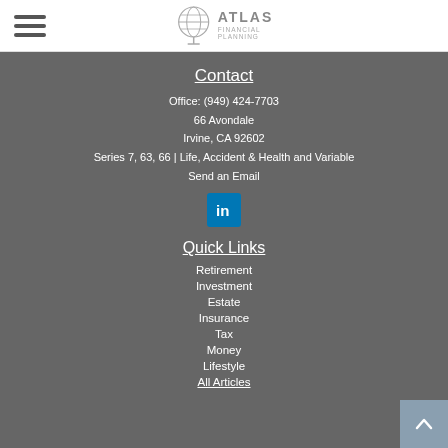Atlas Financial Planning — header with hamburger menu and logo
Contact
Office: (949) 424-7703
66 Avondale
Irvine, CA 92602
Series 7, 63, 66 | Life, Accident & Health and Variable
Send an Email
[Figure (logo): LinkedIn icon button (blue square with 'in' logo)]
Quick Links
Retirement
Investment
Estate
Insurance
Tax
Money
Lifestyle
All Articles